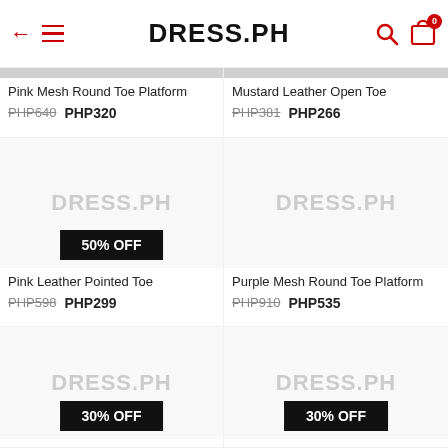DRESS.PH
Pink Mesh Round Toe Platform
PHP640  PHP320
Mustard Leather Open Toe
PHP381  PHP266
[Figure (other): Product image placeholder with DRESS.PH watermark and 50% OFF badge - Pink Leather Pointed Toe]
[Figure (other): Product image placeholder with DRESS.PH watermark - Purple Mesh Round Toe Platform]
Pink Leather Pointed Toe
PHP598  PHP299
Purple Mesh Round Toe Platform
PHP910  PHP535
[Figure (other): Product image placeholder with DRESS.PH watermark and 30% OFF badge]
[Figure (other): Product image placeholder with DRESS.PH watermark and 30% OFF badge]